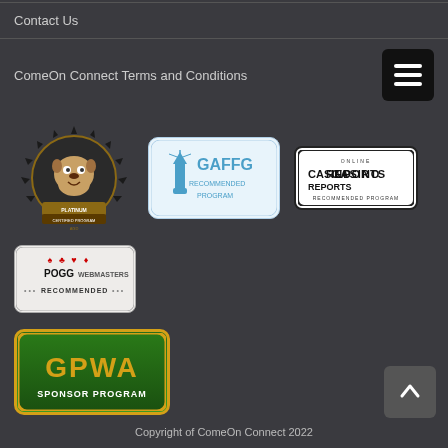Contact Us
ComeOn Connect Terms and Conditions
[Figure (logo): AGD Platinum Certified Program badge with bulldog mascot]
[Figure (logo): GAFFG Recommended Program badge with lighthouse icon]
[Figure (logo): Online CasinoReports Recommended Program badge]
[Figure (logo): POGG Webmasters Recommended badge]
[Figure (logo): GPWA Sponsor Program badge]
Copyright of ComeOn Connect 2022